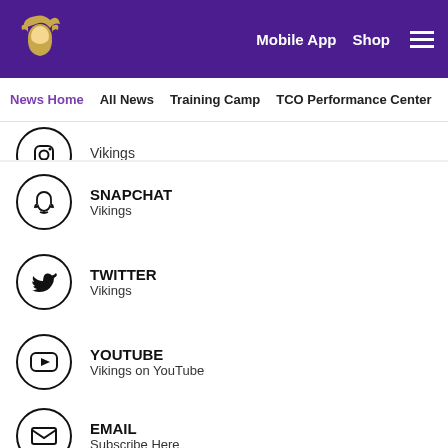Minnesota Vikings — Mobile App  Shop  [Menu]
News Home  All News  Training Camp  TCO Performance Center
SNAPCHAT — Vikings
TWITTER — Vikings
YOUTUBE — Vikings on YouTube
EMAIL — Subscribe Here
Facebook  Twitter  Email  Link